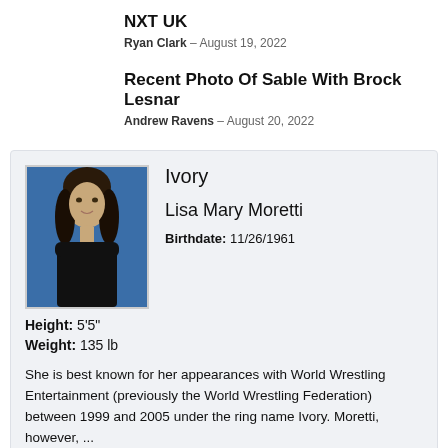NXT UK
Ryan Clark – August 19, 2022
Recent Photo Of Sable With Brock Lesnar
Andrew Ravens – August 20, 2022
Ivory
Lisa Mary Moretti
Birthdate: 11/26/1961
Height: 5'5"
Weight: 135 lb
She is best known for her appearances with World Wrestling Entertainment (previously the World Wrestling Federation) between 1999 and 2005 under the ring name Ivory. Moretti, however, ...